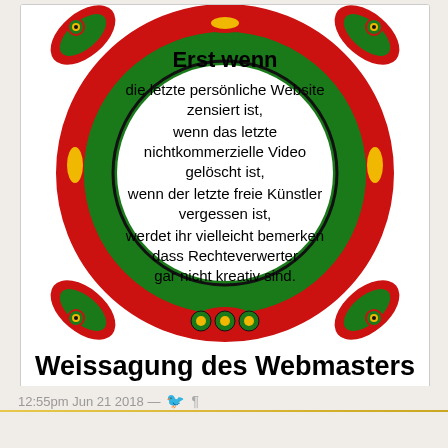[Figure (illustration): Circular decorative indigenous-style artwork in red, green, yellow and black forming a ring/tambourine frame. Inside the white circle, German text reads the 'Weissagung des Webmasters' prophecy. The text inside the circle: 'Erst wenn die letzte persönliche Website zensiert ist, wenn das letzte nichtkommerzielle Video gelöscht ist, wenn der letzte freie Künstler vergessen ist, werdet ihr vielleicht bemerken dass Rechteverwerter gar nicht kreativ sind.']
Weissagung des Webmasters
Und nein, die Scheißzeitungen wird trotzdem niemand kaufen.
12:55pm Jun 21 2018 —